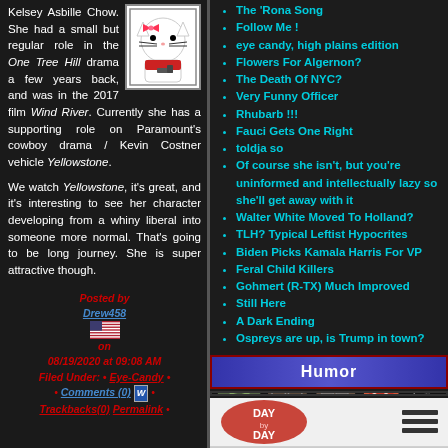Kelsey Asbille Chow. She had a small but regular role in the One Tree Hill drama a few years back, and was in the 2017 film Wind River. Currently she has a supporting role on Paramount's cowboy drama / Kevin Costner vehicle Yellowstone.
We watch Yellowstone, it's great, and it's interesting to see her character developing from a whiny liberal into someone more normal. That's going to be long journey. She is super attractive though.
Posted by Drew458 on 08/19/2020 at 09:08 AM Filed Under: • Eye-Candy • • Comments (0) • Trackbacks(0) Permalink •
The 'Rona Song
Follow Me !
eye candy, high plains edition
Flowers For Algernon?
The Death Of NYC?
Very Funny Officer
Rhubarb !!!
Fauci Gets One Right
toldja so
Of course she isn't, but you're uninformed and intellectually lazy so she'll get away with it
Walter White Moved To Holland?
TLH? Typical Leftist Hypocrites
Biden Picks Kamala Harris For VP
Feral Child Killers
Gohmert (R-TX) Much Improved
Still Here
A Dark Ending
Ospreys are up, is Trump in town?
Humor
[Figure (illustration): Day by Day comic strip banner with cartoon characters]
[Figure (logo): Day by Day logo and hamburger menu icon]